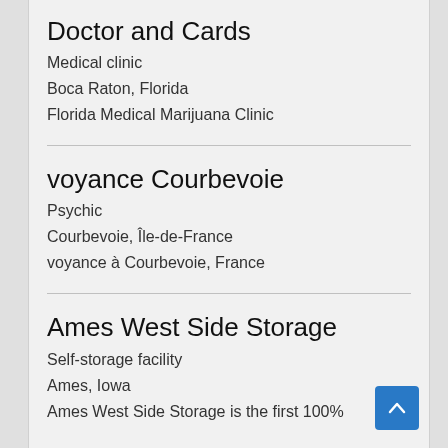Doctor and Cards
Medical clinic
Boca Raton, Florida
Florida Medical Marijuana Clinic
voyance Courbevoie
Psychic
Courbevoie, Île-de-France
voyance à Courbevoie, France
Ames West Side Storage
Self-storage facility
Ames, Iowa
Ames West Side Storage is the first 100%